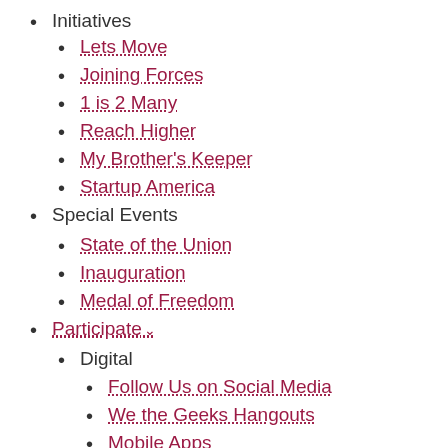Initiatives
Lets Move
Joining Forces
1 is 2 Many
Reach Higher
My Brother's Keeper
Startup America
Special Events
State of the Union
Inauguration
Medal of Freedom
Participate
Digital
Follow Us on Social Media
We the Geeks Hangouts
Mobile Apps
Developer Tools